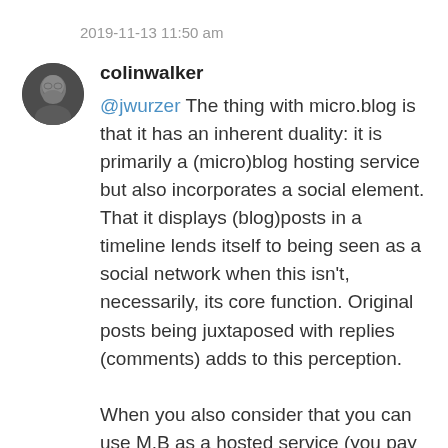2019-11-13 11:50 am
colinwalker
@jwurzer The thing with micro.blog is that it has an inherent duality: it is primarily a (micro)blog hosting service but also incorporates a social element. That it displays (blog)posts in a timeline lends itself to being seen as a social network when this isn't, necessarily, its core function. Original posts being juxtaposed with replies (comments) adds to this perception.

When you also consider that you can use M.B as a hosted service (you pay to have your blog here) or self-hosted (you supply